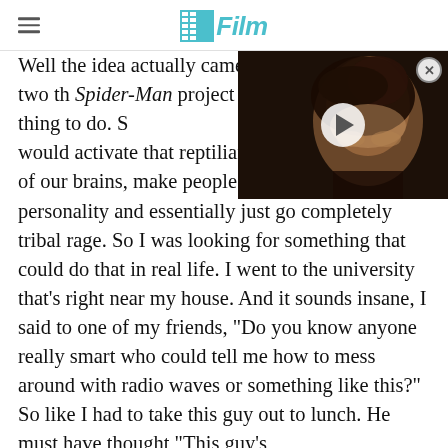/Film
[Figure (screenshot): Video thumbnail showing a person's face with dark curly hair against a dark background, with a white play button circle in the center and a close (X) button in the top right corner.]
Well the idea actually came from wanting to — Actually comes from two things. One is a Spider-Man project that had a particular villain kind of thing to do. Something that would activate that reptilian complex at the base of our brains, make people switch off their human personality and essentially just go completely tribal rage. So I was looking for something that could do that in real life. I went to the university that's right near my house. And it sounds insane, I said to one of my friends, "Do you know anyone really smart who could tell me how to mess around with radio waves or something like this?" So like I had to take this guy out to lunch. He must have thought "This guy's